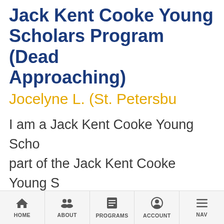Jack Kent Cooke Young Scholars Program (Dead... Approaching)
Jocelyne L. (St. Petersbu...
I am a Jack Kent Cooke Young Scho... part of the Jack Kent Cooke Young S... Program has been incredibly benefi... has opened many doors. I have bee... introduced to interesting programs... camps, and educational classes. I ha...
HOME | ABOUT | PROGRAMS | ACCOUNT | NAV